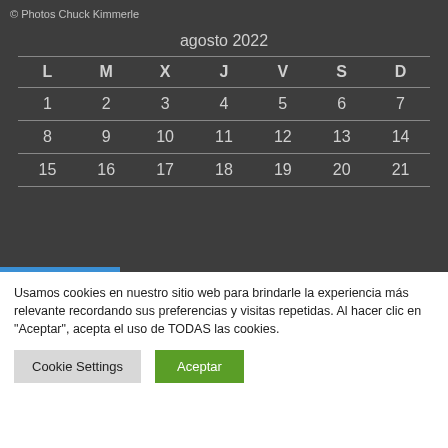© Photos Chuck Kimmerle
| L | M | X | J | V | S | D |
| --- | --- | --- | --- | --- | --- | --- |
| 1 | 2 | 3 | 4 | 5 | 6 | 7 |
| 8 | 9 | 10 | 11 | 12 | 13 | 14 |
| 15 | 16 | 17 | 18 | 19 | 20 | 21 |
Usamos cookies en nuestro sitio web para brindarle la experiencia más relevante recordando sus preferencias y visitas repetidas. Al hacer clic en "Aceptar", acepta el uso de TODAS las cookies.
Cookie Settings | Aceptar